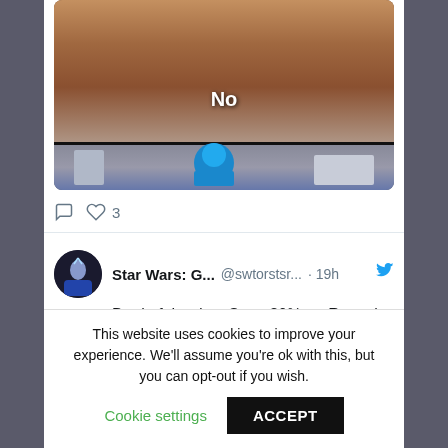[Figure (screenshot): Screenshot of a social media/website page showing a meme image with 'No' text, tweet from Star Wars: G... @swtorstsr... 19h about deal of the day saving 30% on Revan's light saber with link dpbolvw.net/click-10069811..., and a cookie consent banner at the bottom.]
No
3
Star Wars: G...  @swtorstsr...  · 19h
Deal of the day: Save 30% on Revan's light saber:
dpbolvw.net/click-10069811…
This website uses cookies to improve your experience. We'll assume you're ok with this, but you can opt-out if you wish.
Cookie settings
ACCEPT